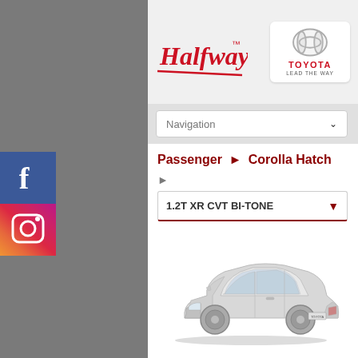[Figure (logo): Halfway logo in red cursive script with underline and Toyota logo with emblem, text TOYOTA LEAD THE WAY]
Navigation
Passenger ▶ Corolla Hatch
▶
1.2T XR CVT BI-TONE
[Figure (photo): Silver Toyota Corolla Hatch car shown from 3/4 front angle on white background]
[Figure (logo): Facebook icon - blue square with white f]
[Figure (logo): Instagram icon - gradient square with camera logo]